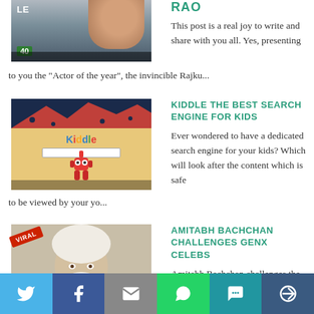[Figure (photo): Partial thumbnail of a person, with 'LE' text overlay and score badge]
RAO
This post is a real joy to write and share with you all. Yes, presenting to you the "Actor of the year", the invincible Rajku...
[Figure (photo): Kiddle search engine logo with robot mascot on colorful background]
KIDDLE THE BEST SEARCH ENGINE FOR KIDS
Ever wondered to have a dedicated search engine for your kids? Which will look after the content which is safe to be viewed by your yo...
[Figure (photo): Amitabh Bachchan in disguise as old man with white beard, VIRAL badge overlay]
AMITABH BACHCHAN CHALLENGES GENX CELEBS
Amitabh Bachchan challenges the new age celebrities with Gulabo Sitabo tongue twister challenge Amitabh Bachchan who is known for n...
[Figure (infographic): Social sharing bar with Twitter, Facebook, Email, WhatsApp, SMS, and More buttons]